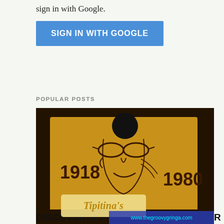sign in with Google.
[Figure (screenshot): Blue 'SIGN IN WITH GOOGLE' button]
POPULAR POSTS
[Figure (photo): Dark photo of a mural showing a stylized portrait of Professor Longhair with years 1918 and 1980, Tipitina's logo overlay, and www.thegroovygringa.com watermark]
October 31, 2013
DISCOVERING PROFESSOR LONGHAIR